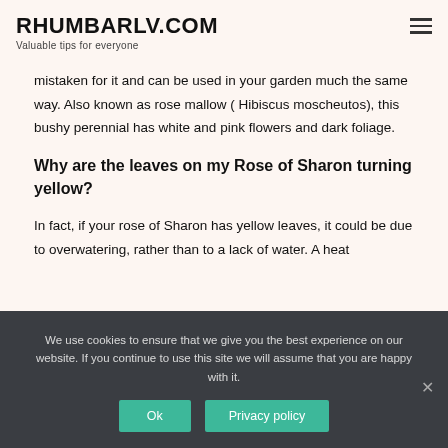RHUMBARLV.COM
Valuable tips for everyone
mistaken for it and can be used in your garden much the same way. Also known as rose mallow ( Hibiscus moscheutos), this bushy perennial has white and pink flowers and dark foliage.
Why are the leaves on my Rose of Sharon turning yellow?
In fact, if your rose of Sharon has yellow leaves, it could be due to overwatering, rather than to a lack of water. A heat
We use cookies to ensure that we give you the best experience on our website. If you continue to use this site we will assume that you are happy with it.